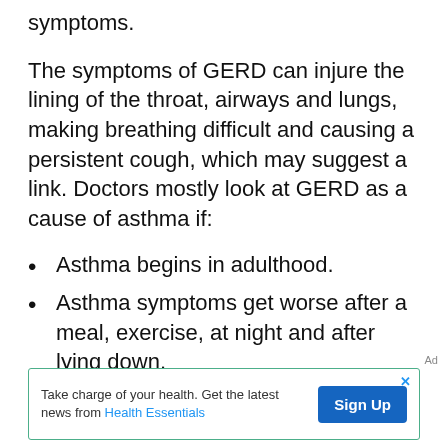symptoms.
The symptoms of GERD can injure the lining of the throat, airways and lungs, making breathing difficult and causing a persistent cough, which may suggest a link. Doctors mostly look at GERD as a cause of asthma if:
Asthma begins in adulthood.
Asthma symptoms get worse after a meal, exercise, at night and after lying down.
Asthma doesn't get better with standard asthma treatments
Ad
Take charge of your health. Get the latest news from Health Essentials  Sign Up